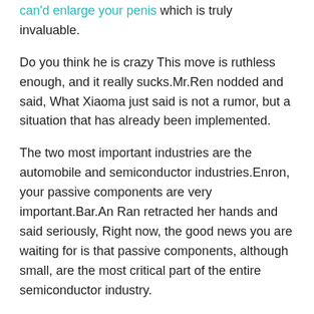can'd enlarge your penis which is truly invaluable.
Do you think he is crazy This move is ruthless enough, and it really sucks.Mr.Ren nodded and said, What Xiaoma just said is not a rumor, but a situation that has already been implemented.
The two most important industries are the automobile and semiconductor industries.Enron, your passive components are very important.Bar.An Ran retracted her hands and said seriously, Right now, the good news you are waiting for is that passive components, although small, are the most critical part of the entire semiconductor industry.
This year will be thirteen, next year will be one hundred and twenty eight.Speaking of this, Luo Jia grabbed Chief Engineer Ning and asked, Wait, how many power generation arrays would you like to put into production .